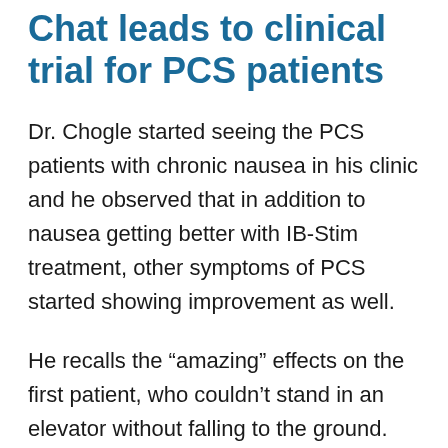Chat leads to clinical trial for PCS patients
Dr. Chogle started seeing the PCS patients with chronic nausea in his clinic and he observed that in addition to nausea getting better with IB-Stim treatment, other symptoms of PCS started showing improvement as well.
He recalls the “amazing” effects on the first patient, who couldn’t stand in an elevator without falling to the ground.
After wearing the IB-Stim device, the boy